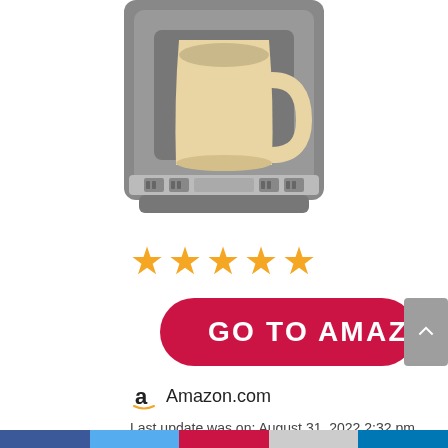[Figure (photo): Coffee maker machine (single-serve pod brewer in gray) with a large beige/cream mug placed on the drip tray, cropped at the top]
[Figure (other): 4 orange/gold star rating icons]
GO TO AMAZON
Amazon.com
Last update was on: August 31, 2022 2:32 pm